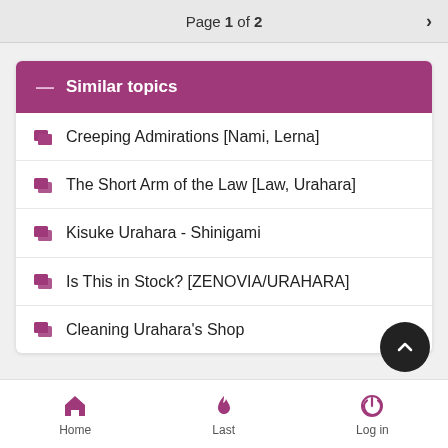Page 1 of 2
Similar topics
Creeping Admirations [Nami, Lerna]
The Short Arm of the Law [Law, Urahara]
Kisuke Urahara - Shinigami
Is This in Stock? [ZENOVIA/URAHARA]
Cleaning Urahara's Shop
Home   Last   Log in